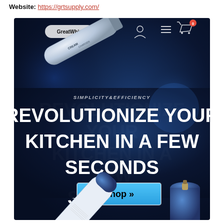Website: https://grtsupply.com/
[Figure (screenshot): Screenshot of the GreatWhip website homepage showing a dark blue background with a navigation bar containing the GreatWhip logo, user icon, menu icon, and shopping cart icon with badge '0'. The hero section displays the text 'SIMPLICITY&EFFICIENCY' in italic and 'REVOLUTIONIZE YOUR KITCHEN IN A FEW SECONDS' in large bold white text. A 'Shop »' button appears in blue. Product images of cream charger cylinders are shown at the top-left and bottom-right of the image.]